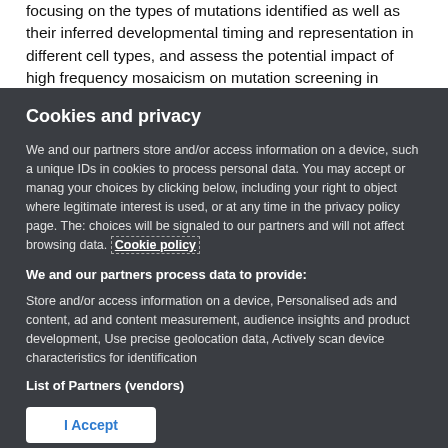focusing on the types of mutations identified as well as their inferred developmental timing and representation in different cell types, and assess the potential impact of high frequency mosaicism on mutation screening in patients
Cookies and privacy
We and our partners store and/or access information on a device, such as unique IDs in cookies to process personal data. You may accept or manage your choices by clicking below, including your right to object where legitimate interest is used, or at any time in the privacy policy page. These choices will be signaled to our partners and will not affect browsing data. Cookie policy
We and our partners process data to provide:
Store and/or access information on a device, Personalised ads and content, ad and content measurement, audience insights and product development, Use precise geolocation data, Actively scan device characteristics for identification
List of Partners (vendors)
I Accept